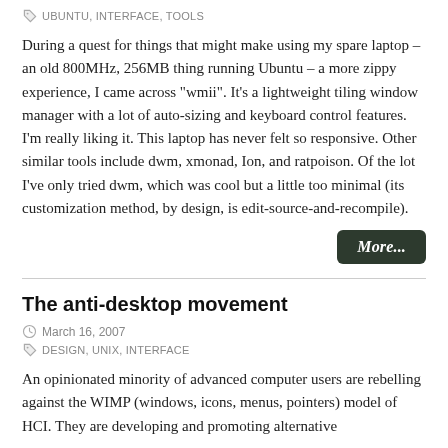UBUNTU, INTERFACE, TOOLS
During a quest for things that might make using my spare laptop – an old 800MHz, 256MB thing running Ubuntu – a more zippy experience, I came across "wmii". It's a lightweight tiling window manager with a lot of auto-sizing and keyboard control features. I'm really liking it. This laptop has never felt so responsive. Other similar tools include dwm, xmonad, Ion, and ratpoison. Of the lot I've only tried dwm, which was cool but a little too minimal (its customization method, by design, is edit-source-and-recompile).
More...
The anti-desktop movement
March 16, 2007
DESIGN, UNIX, INTERFACE
An opinionated minority of advanced computer users are rebelling against the WIMP (windows, icons, menus, pointers) model of HCI. They are developing and promoting alternative